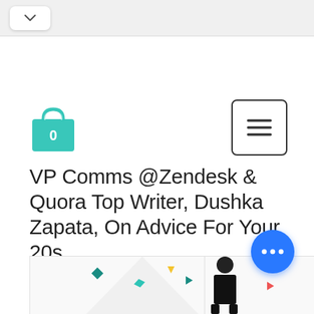[Figure (screenshot): Top navigation bar with back chevron button on white pill background, gray top bar area]
[Figure (screenshot): Teal/green shopping bag icon with number 0 badge]
[Figure (screenshot): Hamburger menu button in rounded rectangle border]
VP Comms @Zendesk & Quora Top Writer, Dushka Zapata, On Advice For Your 20s
[Figure (screenshot): Blue circular chat/more options button with three dots, and partial article thumbnail image with confetti decorations and a person figure]
[Figure (photo): Article thumbnail showing person in black outfit with colorful confetti shapes]